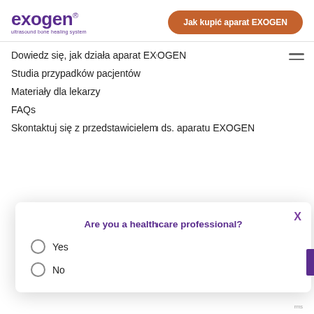[Figure (logo): Exogen ultrasound bone healing system logo in purple]
Jak kupić aparat EXOGEN
Dowiedz się, jak działa aparat EXOGEN
Studia przypadków pacjentów
Materiały dla lekarzy
FAQs
Skontaktuj się z przedstawicielem ds. aparatu EXOGEN
Are you a healthcare professional?
Yes
No